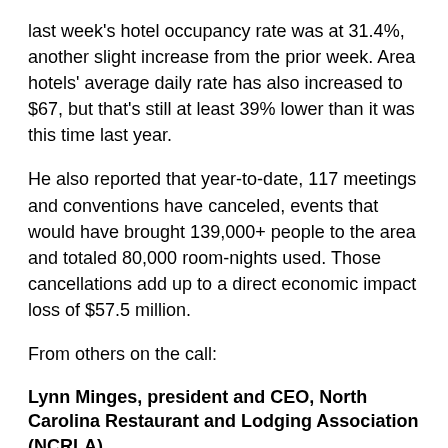last week's hotel occupancy rate was at 31.4%, another slight increase from the prior week. Area hotels' average daily rate has also increased to $67, but that's still at least 39% lower than it was this time last year.
He also reported that year-to-date, 117 meetings and conventions have canceled, events that would have brought 139,000+ people to the area and totaled 80,000 room-nights used. Those cancellations add up to a direct economic impact loss of $57.5 million.
From others on the call:
Lynn Minges, president and CEO, North Carolina Restaurant and Lodging Association (NCRLA)
She projected that Gov. Cooper's three-phase plan will see restaurants reopening about May 22. She outlined five hurdles restaurants or bars will face as they go back